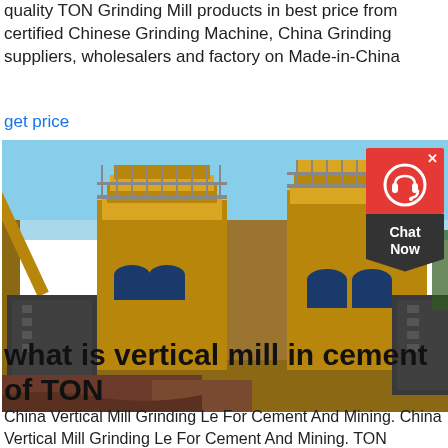quality TON Grinding Mill products in best price from certified Chinese Grinding Machine, China Grinding suppliers, wholesalers and factory on Made-in-China
get price
[Figure (photo): Outdoor industrial site showing large yellow/orange grinding mill machinery and equipment on red dirt ground with blue sky in background]
[Figure (other): Red chat widget box with headphone icon and X close button, with dark chevron-shaped 'Chat Now' label below]
what is vertical mill in cement of TON
China Vertical Mill Grinding Le For Cement And Mining. China Vertical Mill Grinding Le For Cement And Mining. TON professional rock crusherstone crusher crusher requirement for